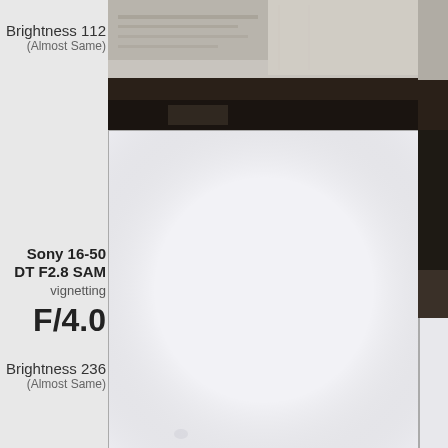Brightness 112
(Almost Same)
[Figure (photo): Photograph of a room interior showing a shelf with books and a dark piece of furniture, partially dark at bottom]
[Figure (photo): White/light vignetting test image for Sony 16-50 DT F2.8 SAM lens at F/4.0, nearly uniform white with slight vignette at edges]
Sony 16-50 DT F2.8 SAM
vignetting
F/4.0
Brightness 236
(Almost Same)
[Figure (photo): Partial right-strip photo showing room interior top portion]
[Figure (photo): Partial right-strip dark photo]
[Figure (photo): Partial right-strip bottom light photo]